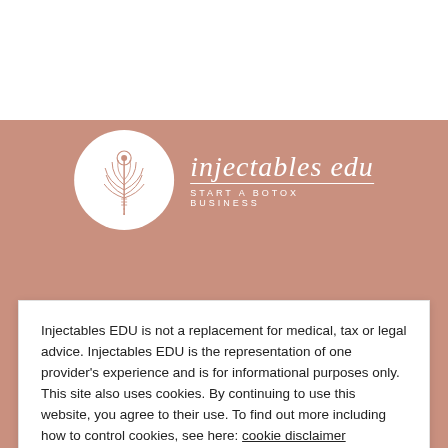[Figure (logo): Injectables EDU logo — white circle containing a peacock feather SVG illustration in rose/white, next to cursive script text 'injectables edu' with tagline 'START A BOTOX BUSINESS' in white on dusty rose background]
HOME
ABOUT
Injectables EDU is not a replacement for medical, tax or legal advice. Injectables EDU is the representation of one provider's experience and is for informational purposes only. This site also uses cookies. By continuing to use this website, you agree to their use. To find out more including how to control cookies, see here: cookie disclaimer